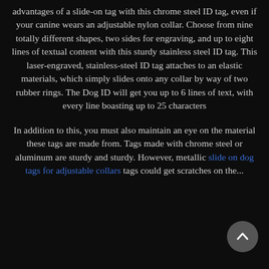advantages of a slide-on tag with this chrome steel ID tag, even if your canine wears an adjustable nylon collar. Choose from nine totally different shapes, two sides for engraving, and up to eight lines of textual content with this sturdy stainless steel ID tag. This laser-engraved, stainless-steel ID tag attaches to an elastic materials, which simply slides onto any collar by way of two rubber rings. The Dog ID will get you up to 6 lines of text, with every line boasting up to 25 characters
In addition to this, you must also maintain an eye on the material these tags are made from. Tags made with chrome steel or aluminum are sturdy and sturdy. However, metallic slide on dog tags for adjustable collars tags could get scratches on the...